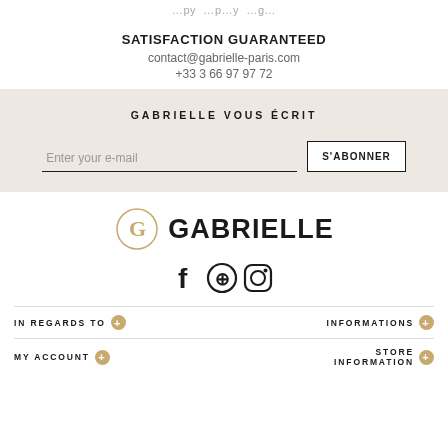...py ...p...y ...g...
SATISFACTION GUARANTEED
contact@gabrielle-paris.com
+33 3 66 97 97 72
GABRIELLE VOUS ÉCRIT
Enter your e-mail  S'ABONNER
[Figure (logo): Gabrielle Paris logo: circular G monogram with brand name GABRIELLE in bold uppercase]
[Figure (infographic): Social media icons: Facebook, Pinterest, Instagram]
IN REGARDS TO + / INFORMATIONS +
MY ACCOUNT + / STORE INFORMATION +